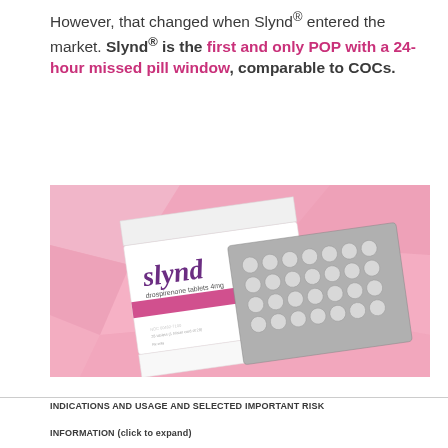However, that changed when Slynd® entered the market. Slynd® is the first and only POP with a 24-hour missed pill window, comparable to COCs.
[Figure (photo): Photo of Slynd (drospirenone tablets 4mg) pill blister pack on a pink geometric background]
INDICATIONS AND USAGE AND SELECTED IMPORTANT RISK INFORMATION (click to expand)